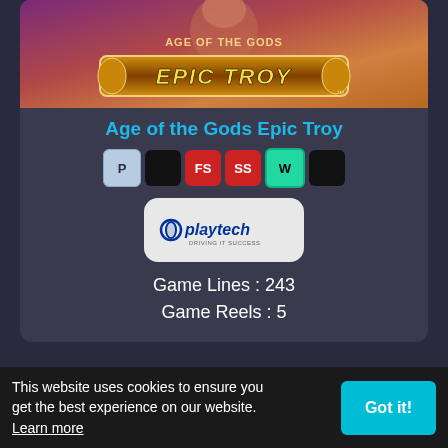[Figure (screenshot): Age of the Gods Epic Troy game banner image with golden ornate text on purple/orange gradient background]
Age of the Gods Epic Troy
[Figure (infographic): Feature badges: P (light blue), black square, FS (red), SS (red), W (cyan/green), black square]
[Figure (logo): Playtech logo on light gray rounded rectangle background]
Game Lines : 243
Game Reels : 5
[Figure (screenshot): Partial screenshot of second game showing bowling ball and gumball machine on blue sky background]
This website uses cookies to ensure you get the best experience on our website.  Learn more
Got it!